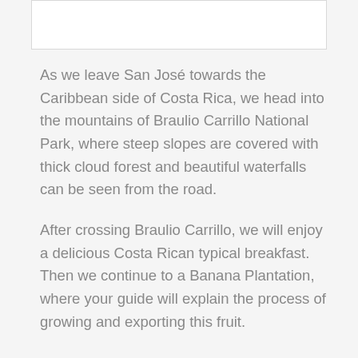[Figure (other): Partial image box visible at the top of the page, white rectangle with light border]
As we leave San José towards the Caribbean side of Costa Rica, we head into the mountains of Braulio Carrillo National Park, where steep slopes are covered with thick cloud forest and beautiful waterfalls can be seen from the road.
After crossing Braulio Carrillo, we will enjoy a delicious Costa Rican typical breakfast. Then we continue to a Banana Plantation, where your guide will explain the process of growing and exporting this fruit.